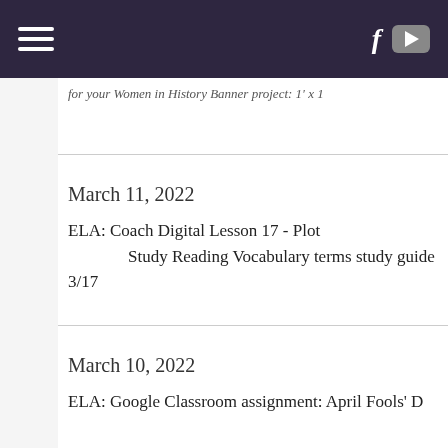[navigation bar with hamburger menu, Facebook icon, YouTube icon]
for your Women in History Banner project: 1' x 1'
March 11, 2022
ELA: Coach Digital Lesson 17 - Plot
        Study Reading Vocabulary terms study guide 3/17
March 10, 2022
ELA: Google Classroom assignment: April Fools' D...